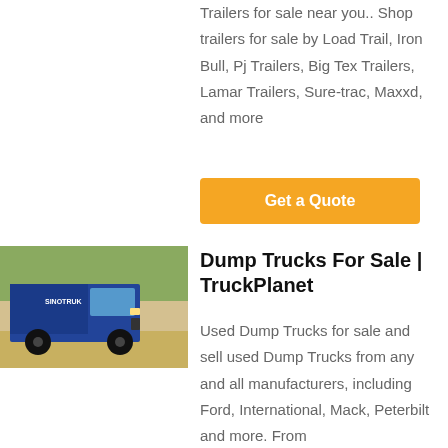Trailers for sale near you.. Shop trailers for sale by Load Trail, Iron Bull, Pj Trailers, Big Tex Trailers, Lamar Trailers, Sure-trac, Maxxd, and more
Get a Quote
[Figure (photo): Blue dump truck (SINOTRUK/HOWO brand) parked outdoors, front view, with trees and a wall in background]
Dump Trucks For Sale | TruckPlanet
Used Dump Trucks for sale and sell used Dump Trucks from any and all manufacturers, including Ford, International, Mack, Peterbilt and more. From